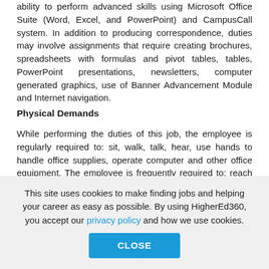ability to perform advanced skills using Microsoft Office Suite (Word, Excel, and PowerPoint) and CampusCall system. In addition to producing correspondence, duties may involve assignments that require creating brochures, spreadsheets with formulas and pivot tables, tables, PowerPoint presentations, newsletters, computer generated graphics, use of Banner Advancement Module and Internet navigation.
Physical Demands
While performing the duties of this job, the employee is regularly required to: sit, walk, talk, hear, use hands to handle office supplies, operate computer and other office equipment. The employee is frequently required to: reach with hands and arms. The employee is occasionally required to: stand, stoop, climb, and lift and/or move up to 15 pounds with assistance. Specific vision
This site uses cookies to make finding jobs and helping your career as easy as possible. By using HigherEd360, you accept our privacy policy and how we use cookies.